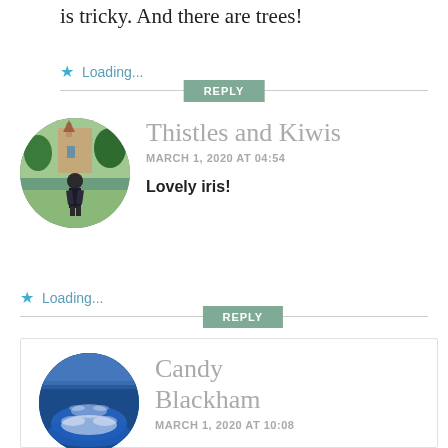is tricky. And there are trees!
Loading...
REPLY
Thistles and Kiwis
MARCH 1, 2020 AT 04:54
Lovely iris!
Loading...
REPLY
Candy Blackham
MARCH 1, 2020 AT 10:08